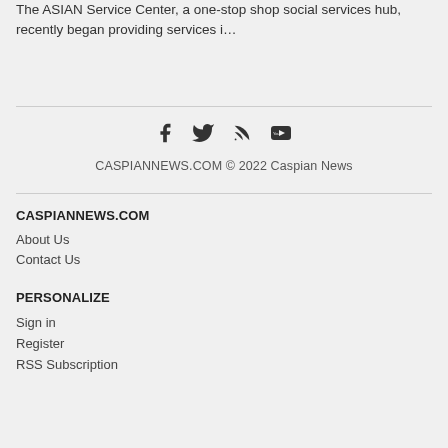The ASIAN Service Center, a one-stop shop social services hub, recently began providing services i...
[Figure (other): Social media icons: Facebook, Twitter, RSS feed, YouTube]
CASPIANNEWS.COM © 2022 Caspian News
CASPIANNEWS.COM
About Us
Contact Us
PERSONALIZE
Sign in
Register
RSS Subscription